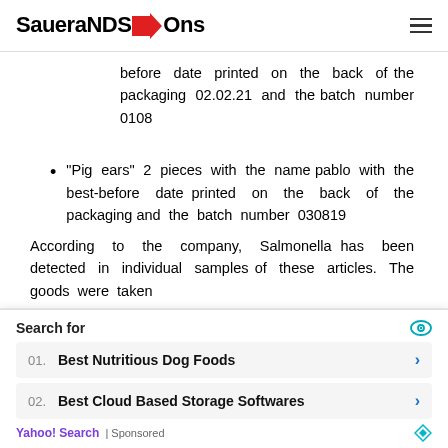SaueraNDS→Ons
before date printed on the back of the packaging 02.02.21 and the batch number 0108
"Pig ears" 2 pieces with the name pablo with the best-before date printed on the back of the packaging and the batch number 030819
According to the company, Salmonella has been detected in individual samples of these articles. The goods were taken
Search for
01. Best Nutritious Dog Foods
02. Best Cloud Based Storage Softwares
Yahoo! Search | Sponsored